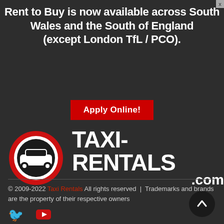Rent to Buy is now available across South Wales and the South of England (except London TfL / PCO).
Apply Online!
[Figure (logo): Taxi-Rentals.com logo: red circle with white car icon, white bold text TAXI-RENTALS .com]
© 2009-2022 Taxi Rentals All rights reserved | Trademarks and brands are the property of their respective owners